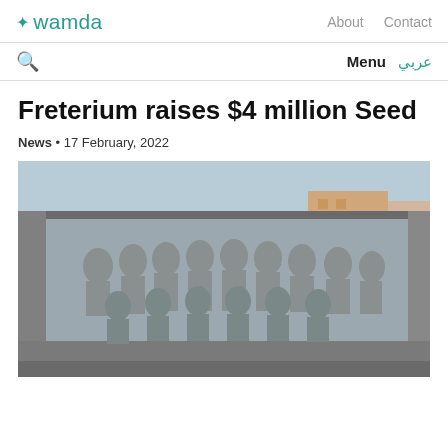+ wamda   About   Contact
🔍   Menu  عربي
Freterium raises $4 million Seed
News • 17 February, 2022
[Figure (photo): Group photo of approximately 20 people (Freterium team) posing on and around the back of a large truck/lorry, all wearing matching grey hoodies, in an outdoor urban setting with buildings in background.]